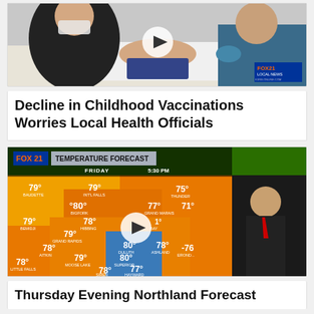[Figure (photo): A child receiving a vaccination from a healthcare worker, with a parent present. FOX 21 LOCAL NEWS watermark in bottom-right corner. Play button overlay in center.]
Decline in Childhood Vaccinations Worries Local Health Officials
[Figure (screenshot): FOX 21 Temperature Forecast weather broadcast screenshot showing a map of Minnesota/Wisconsin region with temperatures. Friday 5:30 PM. Various cities shown: Baudette 79°, Int'l Falls 79°, Thunder 75°, Bigfork 80°, Grand Marais 71°, Bemidji 79°, Hibbing 78°, Bay 1°, Grand Rapids 79°, Duluth 80°, Ashland 78°, Aitkin 78°, Superior 80°, Erond... 76, Moose Lake 79°, Hayward 77°, Little Falls 78°, Siren 78°. Weatherman standing to the right. Play button overlay.]
Thursday Evening Northland Forecast